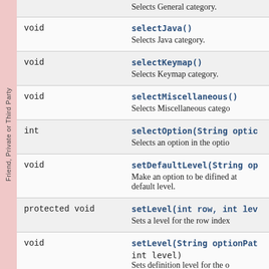| Type | Method and Description |
| --- | --- |
|  | Selects General category. |
| void | selectJava()
Selects Java category. |
| void | selectKeymap()
Selects Keymap category. |
| void | selectMiscellaneous()
Selects Miscellaneous category. |
| int | selectOption(String optio...
Selects an option in the optio... |
| void | setDefaultLevel(String op...
Make an option to be difined at default level. |
| protected void | setLevel(int row, int lev...
Sets a level for the row index... |
| void | setLevel(String optionPat...
int level)
Sets definition level for the o... |